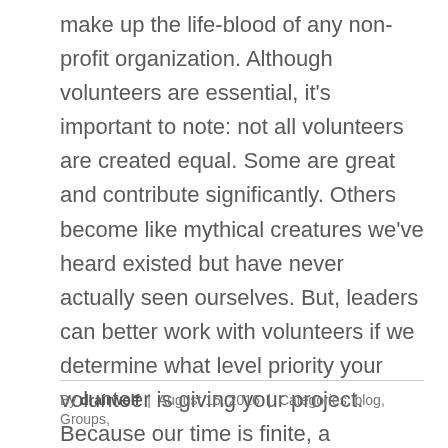make up the life-blood of any non-profit organization. Although volunteers are essential, it's important to note: not all volunteers are created equal. Some are great and contribute significantly. Others become like mythical creatures we've heard existed but have never actually seen ourselves. But, leaders can better work with volunteers if we determine what level priority your volunteer is giving your project. Because our time is finite, a volunteer can not give equal time and energy to every project or group they're engaged in. A volunteer will have to decide if soccer practice or PTA …
By drairwolf | August 15, 2016 | Categories: blog, Groups,